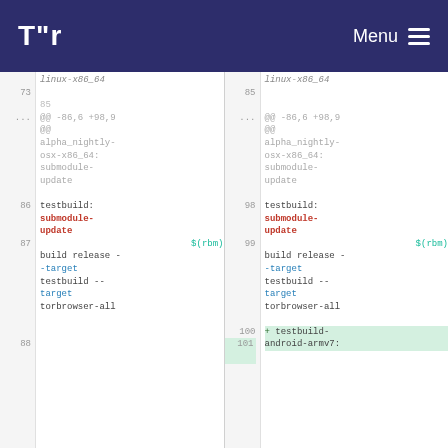Tor - Menu
Diff view showing two columns for linux-x86_64. Line numbers and code changes including testbuild, submodule-update, $(rbm), build release --target testbuild --target torbrowser-all, and testbuild-android-armv7.